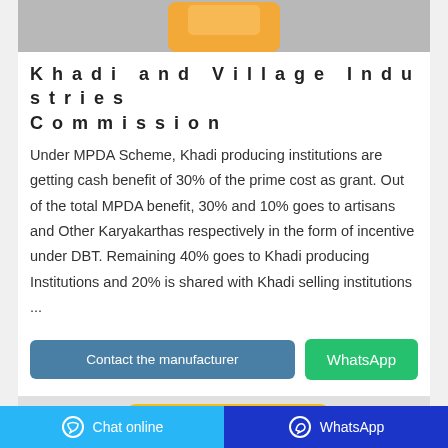[Figure (photo): Top portion of a product package visible against gray background]
Khadi and Village Industries Commission
Under MPDA Scheme, Khadi producing institutions are getting cash benefit of 30% of the prime cost as grant. Out of the total MPDA benefit, 30% and 10% goes to artisans and Other Karyakarthas respectively in the form of incentive under DBT. Remaining 40% goes to Khadi producing Institutions and 20% is shared with Khadi selling institutions ...
[Figure (photo): Orange/yellow product package visible in lower portion of card]
Chat online   WhatsApp